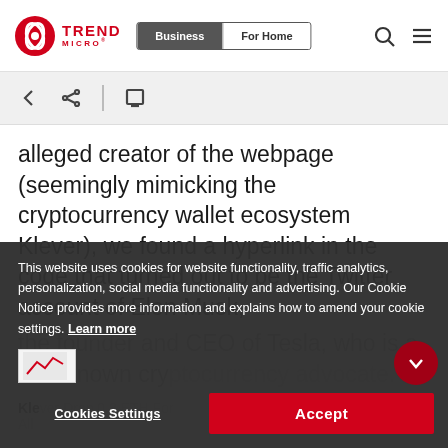[Figure (logo): Trend Micro logo with red circular icon and red TREND MICRO text]
Trend Micro header with Business / For Home navigation tabs and search/menu icons
alleged creator of the webpage (seemingly mimicking the cryptocurrency wallet ecosystem Klever), we found a hyperlink in the code that turned out to be the Twitter account of Elon Musk, the founder and CEO of Tesla, who is a well-known cryptocurrency advocate.
This website uses cookies for website functionality, traffic analytics, personalization, social media functionality and advertising. Our Cookie Notice provides more information and explains how to amend your cookie settings. Learn more
Klever Drop 0.3 ETH For All
[Figure (screenshot): Partial screenshot thumbnail of Klever webpage]
Cookies Settings    Accept